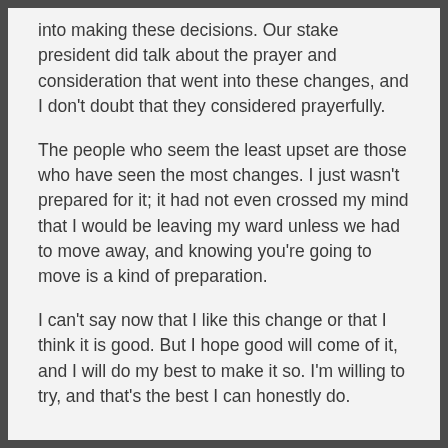into making these decisions. Our stake president did talk about the prayer and consideration that went into these changes, and I don't doubt that they considered prayerfully.
The people who seem the least upset are those who have seen the most changes. I just wasn't prepared for it; it had not even crossed my mind that I would be leaving my ward unless we had to move away, and knowing you're going to move is a kind of preparation.
I can't say now that I like this change or that I think it is good. But I hope good will come of it, and I will do my best to make it so. I'm willing to try, and that's the best I can honestly do.